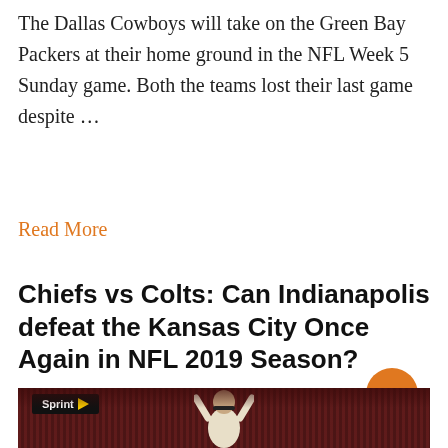The Dallas Cowboys will take on the Green Bay Packers at their home ground in the NFL Week 5 Sunday game. Both the teams lost their last game despite …
Read More
Chiefs vs Colts: Can Indianapolis defeat the Kansas City Once Again in NFL 2019 Season?
[Figure (photo): Football player wearing white jersey with arms raised at a nighttime stadium game, Sprint advertising sign visible in background, crowd in stadium stands behind]